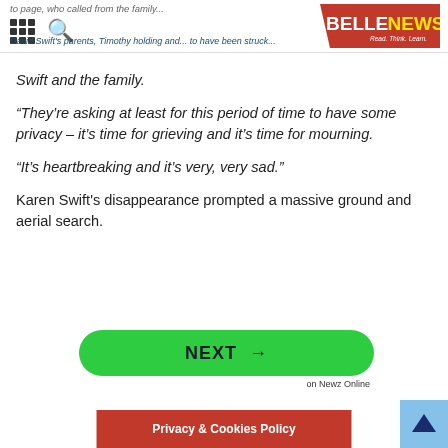BELLENEWS - Read. Think. Learn.
Swift and the family.
“They’re asking at least for this period of time to have some privacy – it’s time for grieving and it's time for mourning.
“It’s heartbreaking and it’s very, very sad.”
Karen Swift's disappearance prompted a massive ground and aerial search.
[Figure (other): NEXT button with arrow, green rounded rectangle, linking to next page on Newz Online]
[Figure (other): Privacy & Cookies Policy red bar at bottom of page]
[Figure (other): Back to top button, light blue square with up arrow]